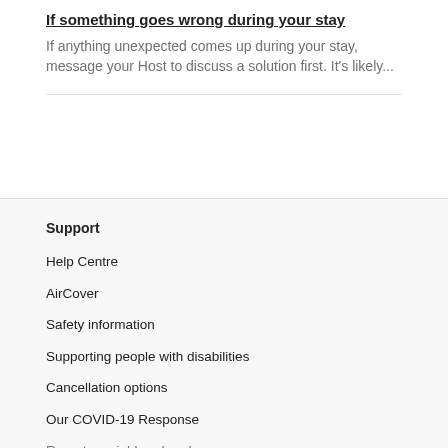If something goes wrong during your stay
If anything unexpected comes up during your stay, message your Host to discuss a solution first. It's likely...
Support
Help Centre
AirCover
Safety information
Supporting people with disabilities
Cancellation options
Our COVID-19 Response
Report a neighbourhood concern